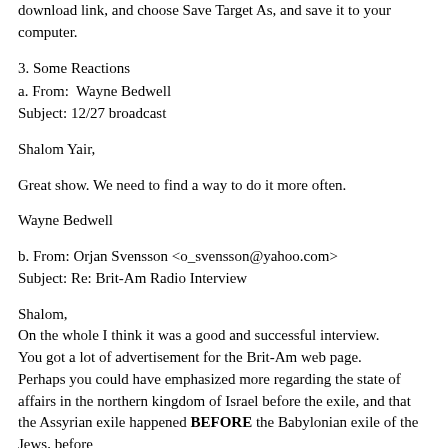download link, and choose Save Target As, and save it to your computer.
3. Some Reactions
a. From:  Wayne Bedwell
Subject: 12/27 broadcast
Shalom Yair,
Great show. We need to find a way to do it more often.
Wayne Bedwell
b. From: Orjan Svensson <o_svensson@yahoo.com>
Subject: Re: Brit-Am Radio Interview
Shalom,
On the whole I think it was a good and successful interview.
You got a lot of advertisement for the Brit-Am web page.
Perhaps you could have emphasized more regarding the state of affairs in the northern kingdom of Israel before the exile, and that the Assyrian exile happened BEFORE the Babylonian exile of the Jews, before